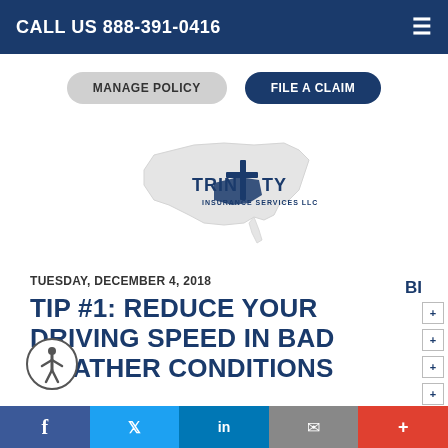CALL US 888-391-0416
MANAGE POLICY
FILE A CLAIM
[Figure (logo): Trinity Insurance Services LLC logo with US map outline and cross symbol]
TUESDAY, DECEMBER 4, 2018
TIP #1: REDUCE YOUR DRIVING SPEED IN BAD WEATHER CONDITIONS